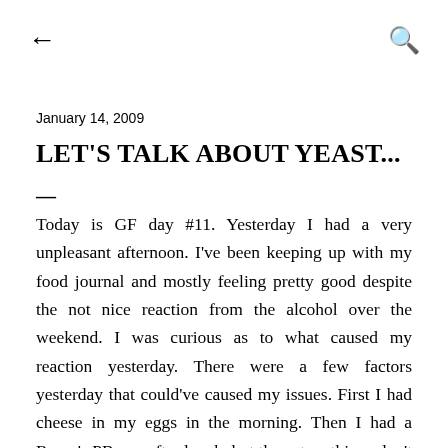← (back) | 🔍 (search)
January 14, 2009
LET'S TALK ABOUT YEAST...
—
Today is GF day #11. Yesterday I had a very unpleasant afternoon. I've been keeping up with my food journal and mostly feeling pretty good despite the not nice reaction from the alcohol over the weekend. I was curious as to what caused my reaction yesterday. There were a few factors yesterday that could've caused my issues. First I had cheese in my eggs in the morning. Then I had a Reese's PB cup after lunch, but those two things don't usually cause such a violent reaction. I had also bought a different bag of chips to have with my lunch, the same